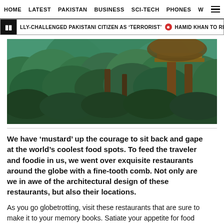HOME   LATEST   PAKISTAN   BUSINESS   SCI-TECH   PHONES   W
LLY-CHALLENGED PAKISTANI CITIZEN AS 'TERRORIST'   HAMID KHAN TO REPRESE
[Figure (photo): Aerial view of a lush green forest with a treehouse/elevated wooden structure visible among the tree canopy, mountains in the background]
We have ‘mustard’ up the courage to sit back and gape at the world’s coolest food spots. To feed the traveler and foodie in us, we went over exquisite restaurants around the globe with a fine-tooth comb. Not only are we in awe of the architectural design of these restaurants, but also their locations.
As you go globetrotting, visit these restaurants that are sure to make it to your memory books. Satiate your appetite for food and unique things with these one-of-their-kind restaurants. The following have made it to our list of